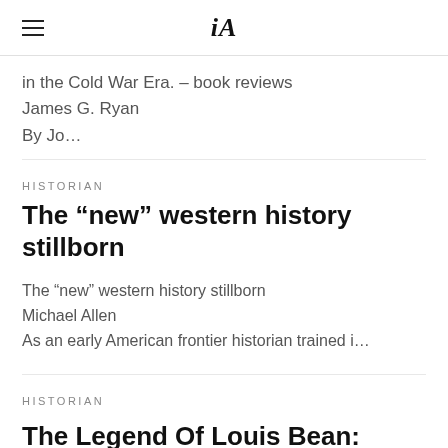iA
in the Cold War Era. – book reviews
James G. Ryan
By Jo…
HISTORIAN
The “new” western history stillborn
The “new” western history stillborn
Michael Allen
As an early American frontier historian trained i…
HISTORIAN
The Legend Of Louis Bean: Political